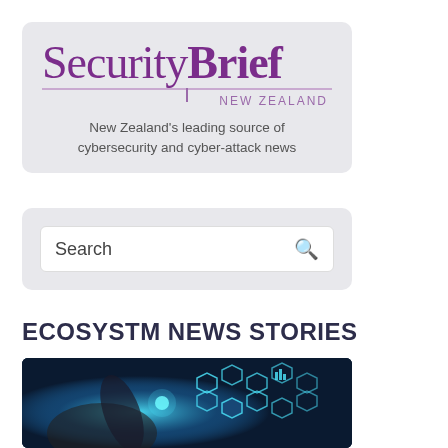[Figure (logo): SecurityBrief New Zealand logo on grey background with tagline]
New Zealand's leading source of cybersecurity and cyber-attack news
[Figure (screenshot): Search bar input field with magnifying glass icon on grey background]
ECOSYSTM NEWS STORIES
[Figure (photo): Photo of hand touching digital hexagonal technology icons on dark blue background]